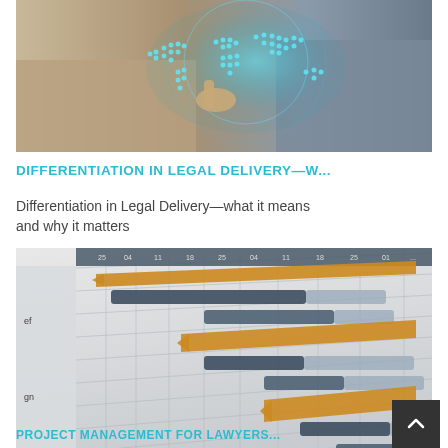[Figure (photo): Two business professionals smiling, one pointing at a holographic glowing world map made of dots, suggesting global digital connectivity in a professional/legal context.]
DIFFERENTIATION IN LEGAL DELIVERY—W...
Differentiation in Legal Delivery—what it means and why it matters
[Figure (other): Close-up of a Gantt chart showing project schedule bars in orange and dark steel blue/grey colors on a grid background, representing project management scheduling for lawyers.]
PROJECT MANAGEMENT FOR LAWYERS...